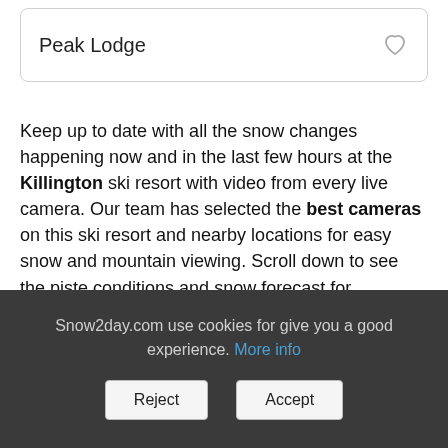Peak Lodge
Keep up to date with all the snow changes happening now and in the last few hours at the Killington ski resort with video from every live camera. Our team has selected the best cameras on this ski resort and nearby locations for easy snow and mountain viewing. Scroll down to see the piste conditions and snow forecast for Killington, Green Mountains - Vermont.
Snow2day.com use cookies for give you a good experience. More info
Reject
Accept